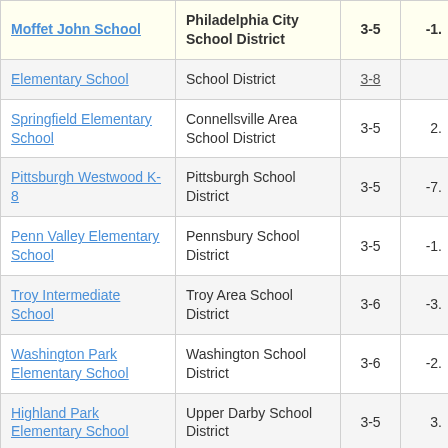| School Name | School District | Grades | Value |
| --- | --- | --- | --- |
| Moffet John School | Philadelphia City School District | 3-5 | -1. |
| Elementary School | School District | 3-8 |  |
| Springfield Elementary School | Connellsville Area School District | 3-5 | 2. |
| Pittsburgh Westwood K-8 | Pittsburgh School District | 3-5 | -7. |
| Penn Valley Elementary School | Pennsbury School District | 3-5 | -1. |
| Troy Intermediate School | Troy Area School District | 3-6 | -3. |
| Washington Park Elementary School | Washington School District | 3-6 | -2. |
| Highland Park Elementary School | Upper Darby School District | 3-5 | 3. |
| (partial row) | (partial) |  |  |